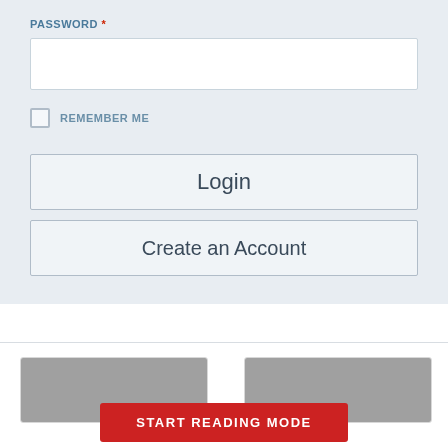PASSWORD *
[Figure (screenshot): Password input field (empty text box)]
REMEMBER ME
[Figure (screenshot): Login button]
[Figure (screenshot): Create an Account button]
[Figure (screenshot): Two partially visible content cards at the bottom]
START READING MODE